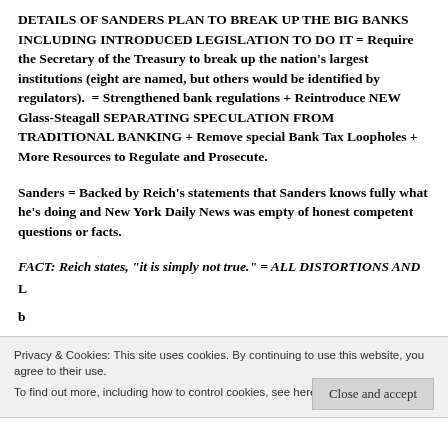DETAILS OF SANDERS PLAN TO BREAK UP THE BIG BANKS INCLUDING INTRODUCED LEGISLATION TO DO IT = Require the Secretary of the Treasury to break up the nation’s largest institutions (eight are named, but others would be identified by regulators).  = Strengthened bank regulations + Reintroduce NEW Glass-Steagall SEPARATING SPECULATION FROM TRADITIONAL BANKING + Remove special Bank Tax Loopholes + More Resources to Regulate and Prosecute.
Sanders = Backed by Reich’s statements that Sanders knows fully what he’s doing and New York Daily News was empty of honest competent questions or facts.
FACT: Reich states, “it is simply not true.” = ALL DISTORTIONS AND
Privacy & Cookies: This site uses cookies. By continuing to use this website, you agree to their use. To find out more, including how to control cookies, see here: Cookie Policy
to make risky investments and are therefore too big to exist. Together